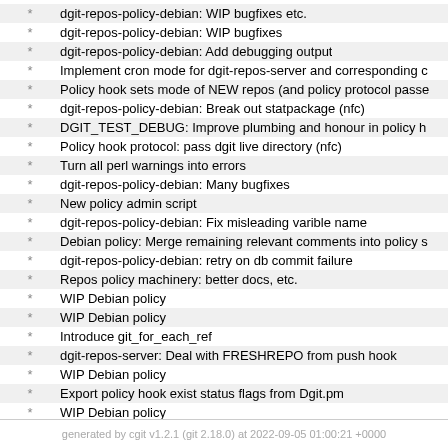* dgit-repos-policy-debian: WIP bugfixes etc.
* dgit-repos-policy-debian: WIP bugfixes
* dgit-repos-policy-debian: Add debugging output
* Implement cron mode for dgit-repos-server and corresponding c
* Policy hook sets mode of NEW repos (and policy protocol passe
* dgit-repos-policy-debian: Break out statpackage (nfc)
* DGIT_TEST_DEBUG: Improve plumbing and honour in policy h
* Policy hook protocol: pass dgit live directory (nfc)
* Turn all perl warnings into errors
* dgit-repos-policy-debian: Many bugfixes
* New policy admin script
* dgit-repos-policy-debian: Fix misleading varible name
* Debian policy: Merge remaining relevant comments into policy s
* dgit-repos-policy-debian: retry on db commit failure
* Repos policy machinery: better docs, etc.
* WIP Debian policy
* WIP Debian policy
* Introduce git_for_each_ref
* dgit-repos-server: Deal with FRESHREPO from push hook
* WIP Debian policy
* Export policy hook exist status flags from Dgit.pm
* WIP Debian policy
generated by cgit v1.2.1 (git 2.18.0) at 2022-09-05 01:00:21 +0000